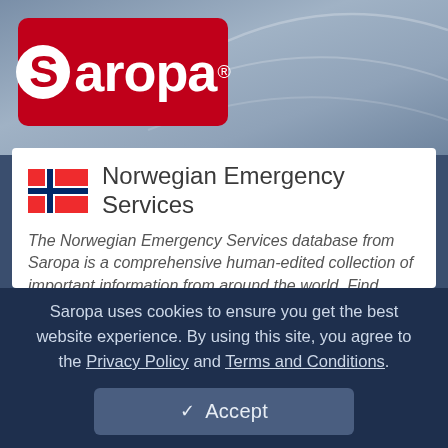[Figure (logo): Saropa logo — white S in circle on red rounded rectangle background with 'aropa' text and registered trademark symbol]
Norwegian Emergency Services
The Norwegian Emergency Services database from Saropa is a comprehensive human-edited collection of important information from around the world. Find Norwegian web links and contact information including disaster and emergency relief services, assistance programs, crisis hotlines, weather warnings, mobile
Saropa uses cookies to ensure you get the best website experience. By using this site, you agree to the Privacy Policy and Terms and Conditions.
✓ Accept